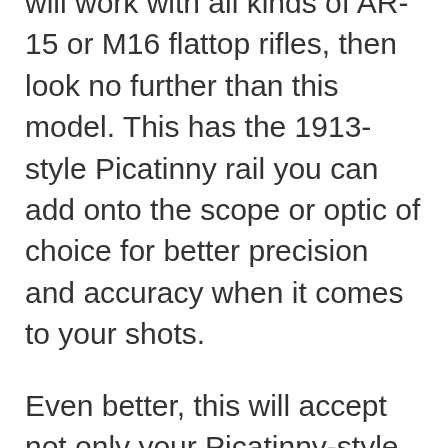will work with all kinds of AR-15 or M16 flattop rifles, then look no further than this model. This has the 1913-style Picatinny rail you can add onto the scope or optic of choice for better precision and accuracy when it comes to your shots.
Even better, this will accept not only your Picatinny-style scopes and optics, but also those that you'll typically find on Weaver rails. So it's quite versatile in accepting any kind of scope or optic. If you have one laying around, don't hesitate to attach it to your rifle and spend a day at the range. To ensure easy installation, this